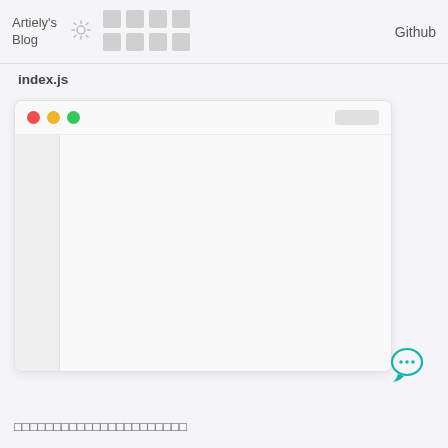Artiely's Blog  Github
index.js
[Figure (screenshot): A code editor window UI with macOS-style traffic light buttons (red, yellow, green), a sidebar panel on the left, and an empty editor content area on the right. A rounded rectangle button placeholder appears in the top-right of the titlebar.]
[Figure (illustration): Teal chat bubble icon with three dots (ellipsis) inside, indicating a comments or chat feature.]
□□□□□□□□□□□□□□□□□□□□□□